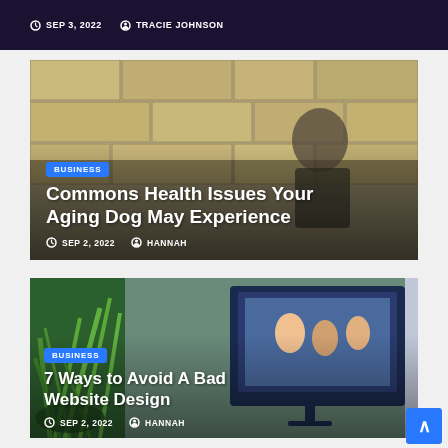[Figure (photo): Top strip showing dark navy background with metadata: SEP 3, 2022 and TRACIE JOHNSON]
SEP 3, 2022  TRACIE JOHNSON
[Figure (photo): Article card showing an elderly man with a dog against a stone wall background]
BUSINESS
Commons Health Issues Your Aging Dog May Experience
SEP 2, 2022  HANNAH
[Figure (photo): Article card showing a computer monitor displaying a website with a family photo, beside green plants]
BUSINESS
7 Ways to Avoid A Bad Website Design
SEP 2, 2022  HANNAH